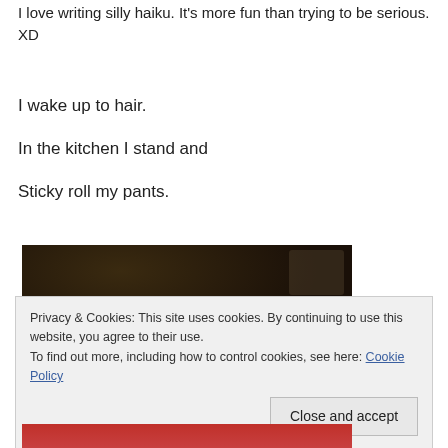I love writing silly haiku. It's more fun than trying to be serious. XD
I wake up to hair.
In the kitchen I stand and
Sticky roll my pants.
[Figure (photo): Dark photo showing a close-up scene with dark brown tones, partially visible objects, and a small white highlight in the center.]
Privacy & Cookies: This site uses cookies. By continuing to use this website, you agree to their use.
To find out more, including how to control cookies, see here: Cookie Policy
Close and accept